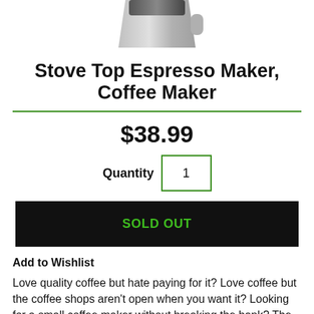[Figure (photo): Partial view of a stove top espresso maker / coffee maker product image, cropped at top]
Stove Top Espresso Maker, Coffee Maker
$38.99
Quantity 1
SOLD OUT
Add to Wishlist
Love quality coffee but hate paying for it? Love coffee but the coffee shops aren't open when you want it? Looking for a small coffee maker without breaking the bank? The MIND READER Stovetop Coffee Maker is just what you need! Ditch the instant and make a quality cup of